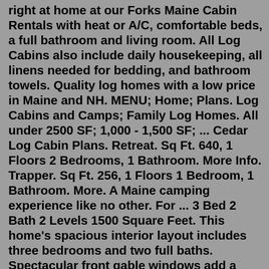right at home at our Forks Maine Cabin Rentals with heat or A/C, comfortable beds, a full bathroom and living room. All Log Cabins also include daily housekeeping, all linens needed for bedding, and bathroom towels. Quality log homes with a low price in Maine and NH. MENU; Home; Plans. Log Cabins and Camps; Family Log Homes. All under 2500 SF; 1,000 - 1,500 SF; ... Cedar Log Cabin Plans. Retreat. Sq Ft. 640, 1 Floors 2 Bedrooms, 1 Bathroom. More Info. Trapper. Sq Ft. 256, 1 Floors 1 Bedroom, 1 Bathroom. More. A Maine camping experience like no other. For ... 3 Bed 2 Bath 2 Levels 1500 Square Feet. This home's spacious interior layout includes three bedrooms and two full baths. Spectacular front gable windows add a panoramic view to the cathedral dining / living room. The wrap-around deck adds beauty and function. First Floor. (Click to enlarge) Second Floor.Maine Log Cabin Rentals Retreat at our cabins located in middle Maine with private bathrooms, hot showers, picnic table and charcoal